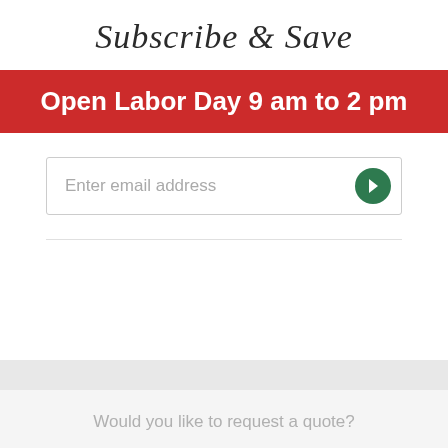Subscribe & Save
Open Labor Day 9 am to 2 pm
Enter email address
Would you like to request a quote?
Customize this Product